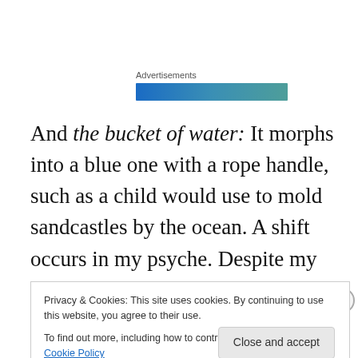Advertisements
[Figure (other): Horizontal advertisement banner bar with blue-to-teal gradient]
And the bucket of water: It morphs into a blue one with a rope handle, such as a child would use to mold sandcastles by the ocean. A shift occurs in my psyche. Despite my terminal illness, life still abounds. Rather than sit listlessly in the movie theater, I empty the bucket, tuck it under my arm, and search for the beach, close by. It's
Privacy & Cookies: This site uses cookies. By continuing to use this website, you agree to their use.
To find out more, including how to control cookies, see here: Cookie Policy
Close and accept